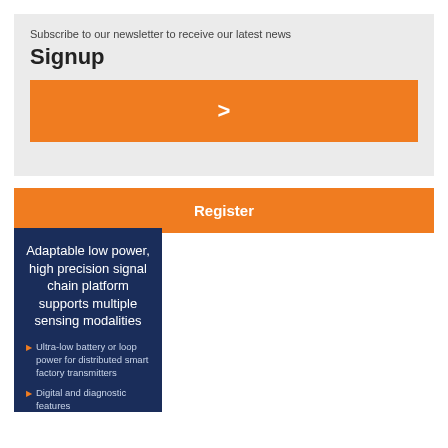Subscribe to our newsletter to receive our latest news
Signup
[Figure (other): Orange button with right arrow symbol >]
[Figure (other): Orange Register button]
Adaptable low power, high precision signal chain platform supports multiple sensing modalities
Ultra-low battery or loop power for distributed smart factory transmitters
Digital and diagnostic features